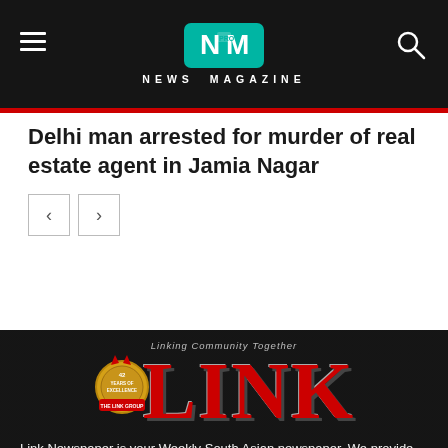NM PRO NEWS MAGAZINE
Delhi man arrested for murder of real estate agent in Jamia Nagar
[Figure (logo): Link Newspaper logo with tagline 'Linking Community Together' and medal badge showing '42 years of excellence']
Link Newspaper is your Weekly South Asian newspaper. We provide you with the latest breaking news and videos straight